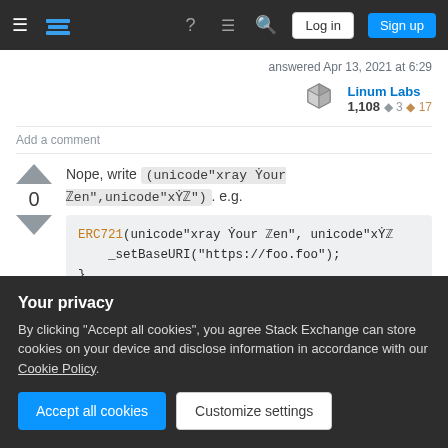Stack Exchange navigation bar with Log in and Sign up buttons
answered Apr 13, 2021 at 6:29
Linum Labs 1,108 ◆3 ♦17
Add a comment
Nope, write (unicode"Xray Ýour Zen",unicode"xÝZ"). e.g.
ERC721(unicode"xray Ýour Zen", unicode"xÝZ
    _setBaseURI("https://foo.foo");
}
Your privacy
By clicking "Accept all cookies", you agree Stack Exchange can store cookies on your device and disclose information in accordance with our Cookie Policy.
Accept all cookies   Customize settings